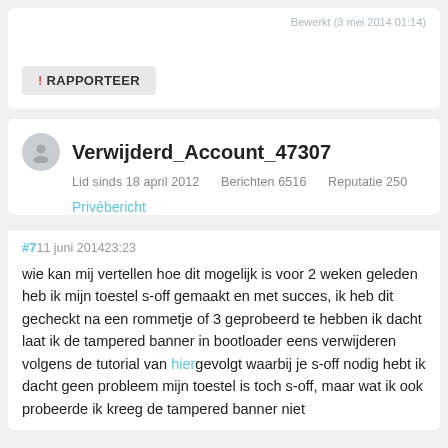Bewerkt (3 mei 2014 01:14)
! RAPPORTEER
Verwijderd_Account_47307
Lid sinds 18 april 2012   Berichten 6516   Reputatie 250
Privébericht
#711 juni 201423:23
wie kan mij vertellen hoe dit mogelijk is voor 2 weken geleden heb ik mijn toestel s-off gemaakt en met succes, ik heb dit gecheckt na een rommetje of 3 geprobeerd te hebben ik dacht laat ik de tampered banner in bootloader eens verwijderen volgens de tutorial van hier gevolgt waarbij je s-off nodig hebt ik dacht geen probleem mijn toestel is toch s-off, maar wat ik ook probeerde ik kreeg de tampered banner niet